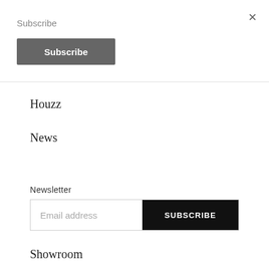×
Subscribe
Subscribe
Houzz
News
Newsletter
Email address
SUBSCRIBE
Showroom